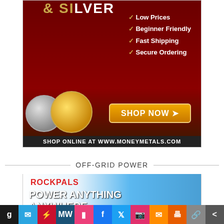[Figure (illustration): Money Metals Exchange advertisement showing gold and silver coins with text: Low Prices, Beginner Friendly, Fast Shipping, Secure Ordering, SHOP NOW button, SHOP ONLINE AT WWW.MONEYMETALS.COM]
OFF-GRID POWER
[Figure (illustration): Rockpals advertisement with large solar panel image, ROCKPALS logo in red, text POWER ANYTHING ANYWHERE, ROCKPAL S 100W]
[Figure (infographic): Social media sharing bar with icons: Gab, Telegram, Flipboard, MeWe, Pixelfed/Parler, Facebook, Twitter, Instagram, Email, Print, Link, Share]